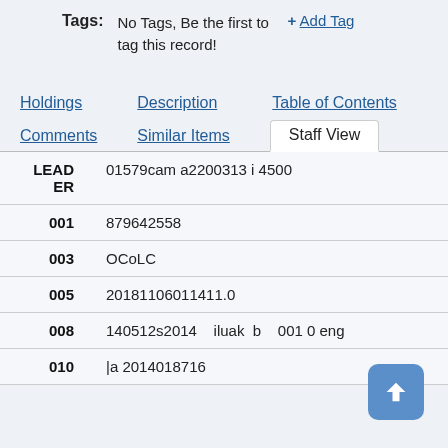Tags: No Tags, Be the first to tag this record! + Add Tag
Holdings  Description  Table of Contents
Comments  Similar Items  Staff View
| Field | Value |
| --- | --- |
| LEADER | 01579cam a2200313 i 4500 |
| 001 | 879642558 |
| 003 | OCoLC |
| 005 | 20181106011411.0 |
| 008 | 140512s2014    iluak  b    001 0 eng |
| 010 | |a  2014018716 |